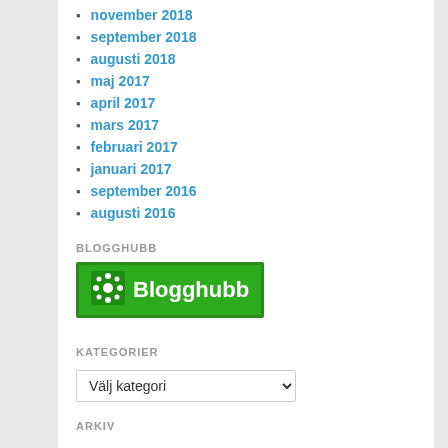november 2018
september 2018
augusti 2018
maj 2017
april 2017
mars 2017
februari 2017
januari 2017
september 2016
augusti 2016
BLOGGHUBB
[Figure (logo): Blogghubb logo - green background with asterisk-like icon and white text 'Blogghubb']
KATEGORIER
Välj kategori
ARKIV